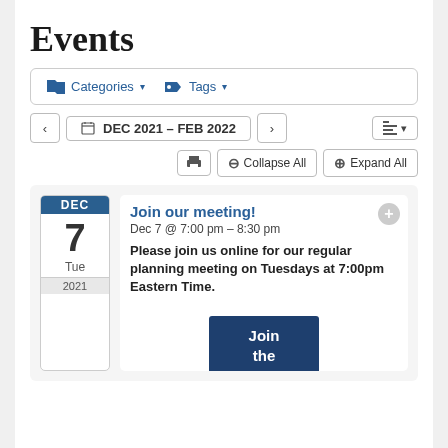Events
[Figure (screenshot): Filter bar with Categories and Tags dropdown buttons]
[Figure (screenshot): Navigation bar with left arrow, DEC 2021 – FEB 2022 date range, right arrow, and list view button]
[Figure (screenshot): Action bar with print, Collapse All, and Expand All buttons]
Join our meeting!
Dec 7 @ 7:00 pm – 8:30 pm
Please join us online for our regular planning meeting on Tuesdays at 7:00pm Eastern Time.
[Figure (screenshot): Join the (button partially visible at bottom)]